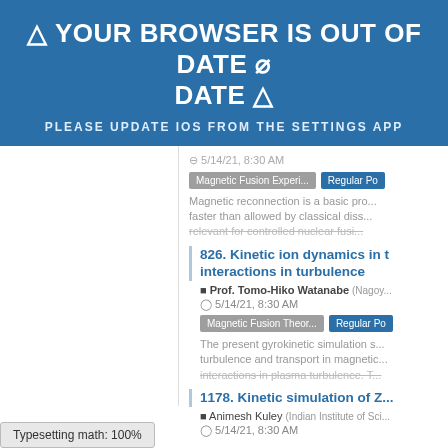⚠ YOUR BROWSER IS OUT OF DATE ⚠
PLEASE UPDATE IOS FROM THE SETTINGS APP
5/14/21, 8:30 AM
Magnetic Fusion Experi... | Regular Po...
Magnetic reconnection is a basic pro... faster than allowed by classical diss... relevant for controlled nuclear fusi...
826. Kinetic ion dynamics in t... interactions in turbulence
Prof. Tomo-Hiko Watanabe (Nagoy...
5/14/21, 8:30 AM
Magnetic Fusion Theor... | Regular Po...
The present gyrokinetic simulation s... turbulence and transport in magnetic... interactions in plasma turbulence. T...
1178. Kinetic simulation of Z...
Animesh Kuley (Indian Institute of Sci....
5/14/21, 8:30 AM
Typesetting math: 100%